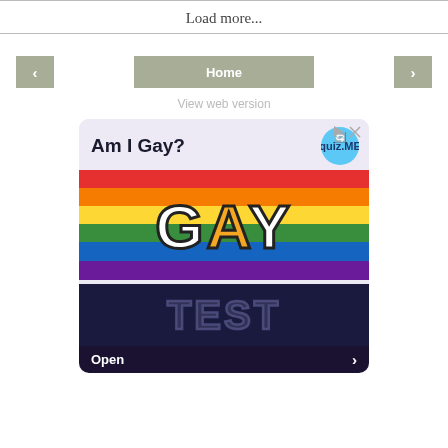Load more...
Home
View web version
[Figure (screenshot): Advertisement banner for 'Am I Gay? GAY TEST' app/quiz with rainbow stripes background and 'Open' button]